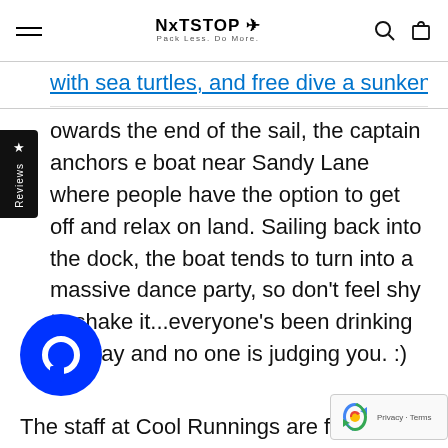NxTSTOP ✈ Pack Less. Do More.
with sea turtles, and free dive a sunken ship!
owards the end of the sail, the captain anchors e boat near Sandy Lane where people have the option to get off and relax on land. Sailing back into the dock, the boat tends to turn into a massive dance party, so don't feel shy to shake it...everyone's been drinking anyway and no one is judging you. :)
The staff at Cool Runnings are friendly, tenta…